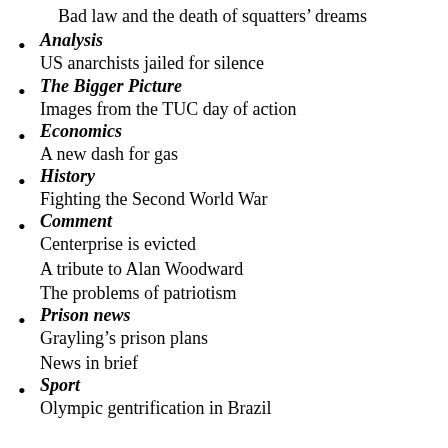Bad law and the death of squatters' dreams
Analysis
US anarchists jailed for silence
The Bigger Picture
Images from the TUC day of action
Economics
A new dash for gas
History
Fighting the Second World War
Comment
Centerprise is evicted
A tribute to Alan Woodward
The problems of patriotism
Prison news
Grayling's prison plans
News in brief
Sport
Olympic gentrification in Brazil